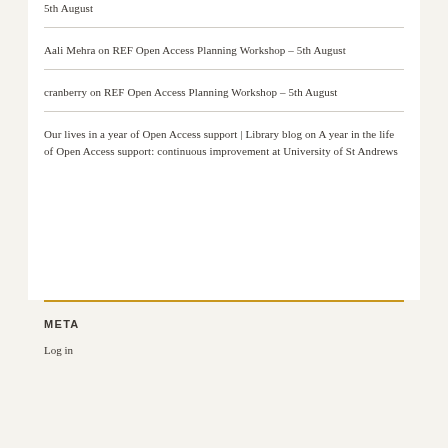5th August
Aali Mehra on REF Open Access Planning Workshop – 5th August
cranberry on REF Open Access Planning Workshop – 5th August
Our lives in a year of Open Access support | Library blog on A year in the life of Open Access support: continuous improvement at University of St Andrews
META
Log in